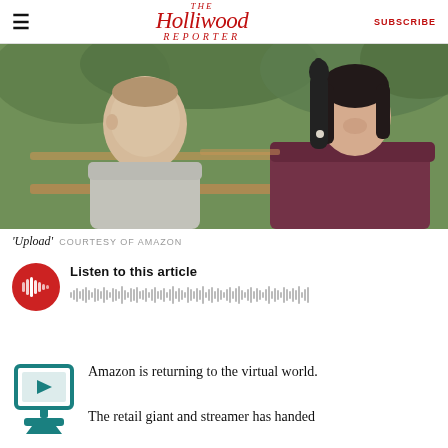The Hollywood Reporter  SUBSCRIBE
[Figure (photo): Two actors on a park bench — a man in a grey sweatshirt on the left and a woman in a dark burgundy coat with black gloves on the right, pointing upward; green foliage in background. Still from 'Upload'.]
'Upload'  COURTESY OF AMAZON
[Figure (other): Audio player widget with red circular play button showing waveform icon, and audio waveform bar graphic. Text: 'Listen to this article']
[Figure (illustration): Teal/dark cyan icon of a television/monitor with a play triangle button and a stand base.]
Amazon is returning to the virtual world.
The retail giant and streamer has handed